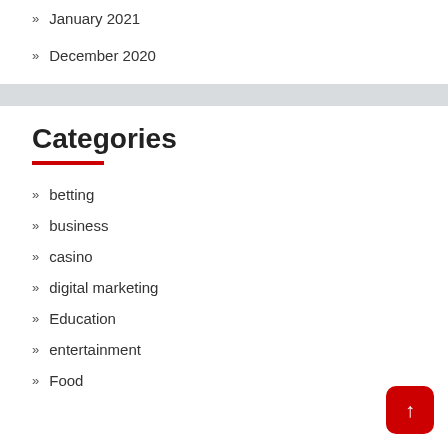January 2021
December 2020
Categories
betting
business
casino
digital marketing
Education
entertainment
Food